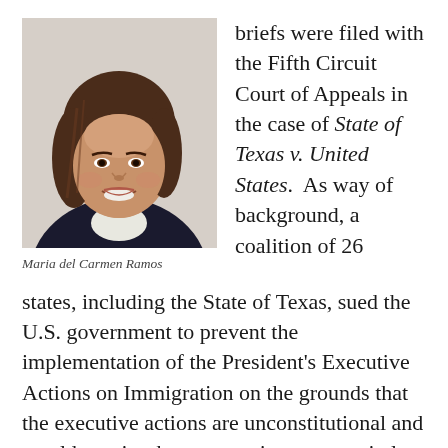[Figure (photo): Headshot photo of Maria del Carmen Ramos, a woman with shoulder-length brown hair, smiling, wearing a dark blazer over a white top.]
Maria del Carmen Ramos
briefs were filed with the Fifth Circuit Court of Appeals in the case of State of Texas v. United States.  As way of background, a coalition of 26 states, including the State of Texas, sued the U.S. government to prevent the implementation of the President's Executive Actions on Immigration on the grounds that the executive actions are unconstitutional and would require the states to invest more in law enforcement, health care, and education.
Continue reading